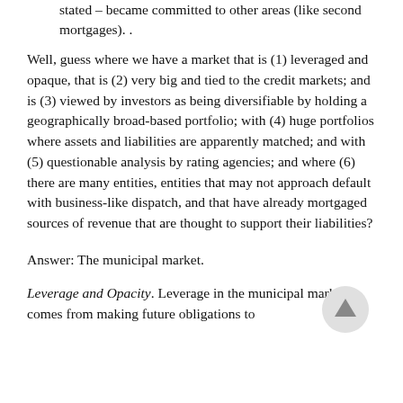stated – became committed to other areas (like second mortgages). .
Well, guess where we have a market that is (1) leveraged and opaque, that is (2) very big and tied to the credit markets; and is (3) viewed by investors as being diversifiable by holding a geographically broad-based portfolio; with (4) huge portfolios where assets and liabilities are apparently matched; and with (5) questionable analysis by rating agencies; and where (6) there are many entities, entities that may not approach default with business-like dispatch, and that have already mortgaged sources of revenue that are thought to support their liabilities?
Answer: The municipal market.
Leverage and Opacity. Leverage in the municipal market comes from making future obligations to